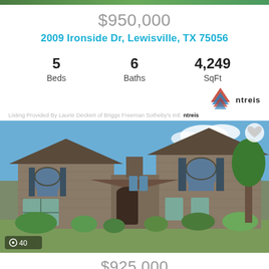$950,000
2009 Ironside Dr, Lewisville, TX 75056
5 Beds  6 Baths  4,249 SqFt
Listing Provided By Laurie Deckert of Briggs Freeman Sotheby's Intl  ntreis
[Figure (photo): Two-story brick home with arched windows, blue shutters, landscaped front yard, and attached garage entrance area. Photo count badge showing 40 photos.]
$925,000